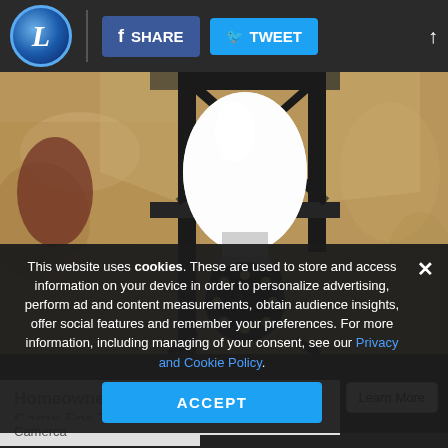[Figure (screenshot): Website navigation bar with logo (L in circle), Share button (blue Facebook style), Tweet button (cyan Twitter style), and up arrow]
[Figure (photo): Close-up photo of a light bulb security camera mounted in a black lantern-style outdoor fixture on a textured stucco wall. The bulb has a round camera module with LED ring at the bottom.]
This website uses cookies. These are used to store and access information on your device in order to personalize advertising, perform ad and content measurements, obtain audience insights, offer social features and remember your preferences. For more information, including managing of your consent, see our Privacy and Cookie Policy.
ACCEPT
Homeowners Are Trading Doorbell Cams For This
Camerca
Learn More